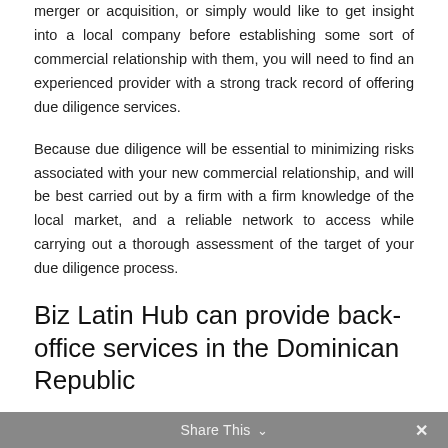merger or acquisition, or simply would like to get insight into a local company before establishing some sort of commercial relationship with them, you will need to find an experienced provider with a strong track record of offering due diligence services.
Because due diligence will be essential to minimizing risks associated with your new commercial relationship, and will be best carried out by a firm with a firm knowledge of the local market, and a reliable network to access while carrying out a thorough assessment of the target of your due diligence process.
Biz Latin Hub can provide back-office services in the Dominican Republic
At Biz Latin Hub, our extensive portfolio of business
Share This ∨  ✕